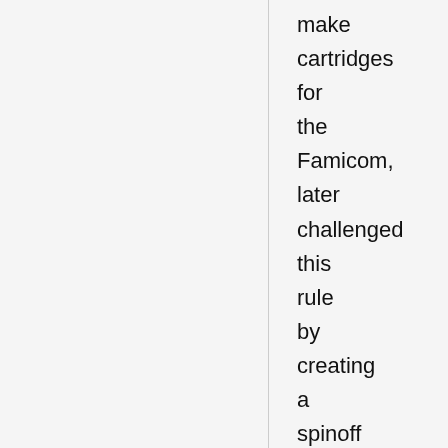make cartridges for the Famicom, later challenged this rule by creating a spinoff company, Ultra